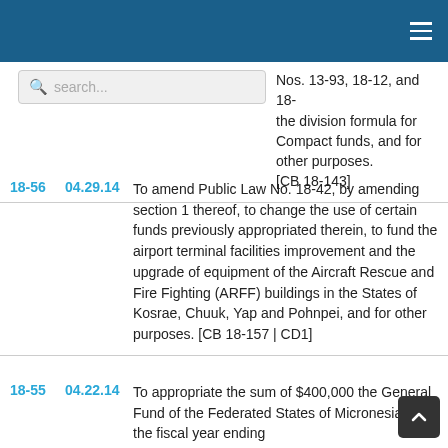Header navigation bar with hamburger menu
Nos. 13-93, 18-12, and 18- the division formula for Compact funds, and for other purposes. [CB 18-143]
18-56  04.29.14  To amend Public Law No. 18-42, by amending section 1 thereof, to change the use of certain funds previously appropriated therein, to fund the airport terminal facilities improvement and the upgrade of equipment of the Aircraft Rescue and Fire Fighting (ARFF) buildings in the States of Kosrae, Chuuk, Yap and Pohnpei, and for other purposes. [CB 18-157 | CD1]
18-55  04.22.14  To appropriate the sum of $400,000 the General Fund of the Federated States of Micronesia for the fiscal year ending